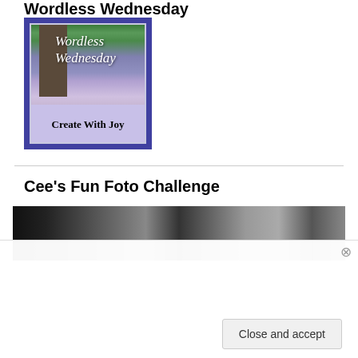Wordless Wednesday
[Figure (illustration): Wordless Wednesday badge/logo with a forest and lavender field background, text 'Wordless Wednesday' in italic white, and 'Create With Joy' in black at the bottom, framed in purple.]
Cee's Fun Foto Challenge
[Figure (photo): A dark monochrome photo showing tree canopy against a light sky, black and white.]
Privacy & Cookies: This site uses cookies. By continuing to use this website, you agree to their use.
To find out more, including how to control cookies, see here: Cookie Policy
Close and accept